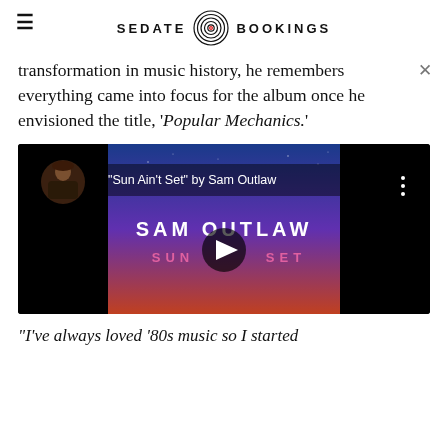SEDATE BOOKINGS
transformation in music history, he remembers everything came into focus for the album once he envisioned the title, 'Popular Mechanics.'
[Figure (screenshot): YouTube video thumbnail for 'Sun Ain't Set' by Sam Outlaw, showing a play button over a gradient background with text SAM OUTLAW SUN SET]
"I've always loved '80s music so I started